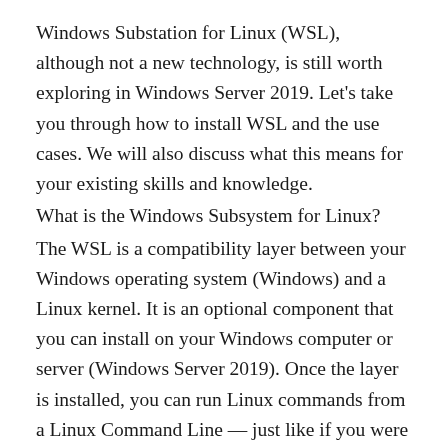Windows Substation for Linux (WSL), although not a new technology, is still worth exploring in Windows Server 2019. Let's take you through how to install WSL and the use cases. We will also discuss what this means for your existing skills and knowledge.
What is the Windows Subsystem for Linux?
The WSL is a compatibility layer between your Windows operating system (Windows) and a Linux kernel. It is an optional component that you can install on your Windows computer or server (Windows Server 2019). Once the layer is installed, you can run Linux commands from a Linux Command Line — just like if you were sitting in front a native Linux computer.
This allows administrators, developers, and testers to quickly test scripts, programs, and commands without